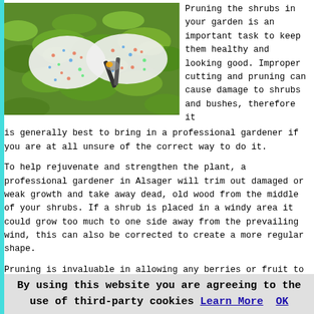[Figure (photo): Hands wearing white gardening gloves with colorful polka dots, holding pruning shears and trimming green shrubs]
Pruning the shrubs in your garden is an important task to keep them healthy and looking good. Improper cutting and pruning can cause damage to shrubs and bushes, therefore it is generally best to bring in a professional gardener if you are at all unsure of the correct way to do it.
To help rejuvenate and strengthen the plant, a professional gardener in Alsager will trim out damaged or weak growth and take away dead, old wood from the middle of your shrubs. If a shrub is placed in a windy area it could grow too much to one side away from the prevailing wind, this can also be corrected to create a more regular shape.
Pruning is invaluable in allowing any berries or fruit to
By using this website you are agreeing to the use of third-party cookies Learn More  OK